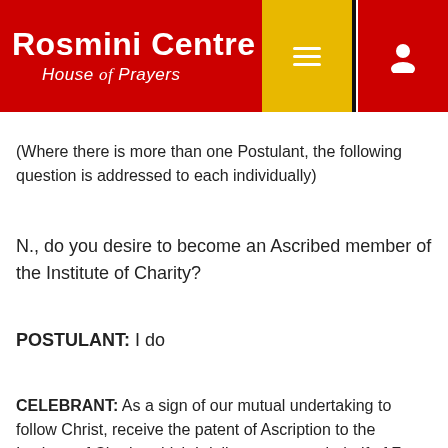Rosmini Centre House of Prayers
(Where there is more than one Postulant, the following question is addressed to each individually)
N., do you desire to become an Ascribed member of the Institute of Charity?
POSTULANT: I do
CELEBRANT: As a sign of our mutual undertaking to follow Christ, receive the patent of Ascription to the Institute of Charity which I deliver to you on behalf of Fr. James Flynn, General Superior of the Institute. Receive also a copy of Rosminian Spirituality which contains much of the spiritual